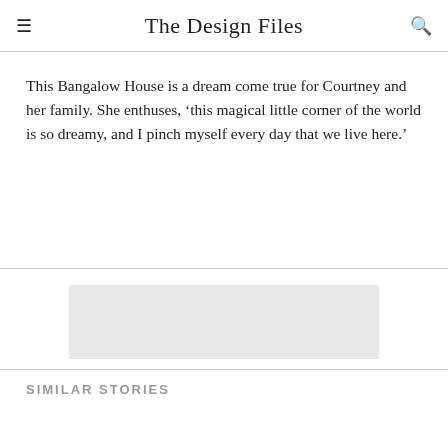The Design Files
This Bangalow House is a dream come true for Courtney and her family. She enthuses, ‘this magical little corner of the world is so dreamy, and I pinch myself every day that we live here.’
[Figure (other): Advertisement placeholder box (light grey rectangle)]
SIMILAR STORIES